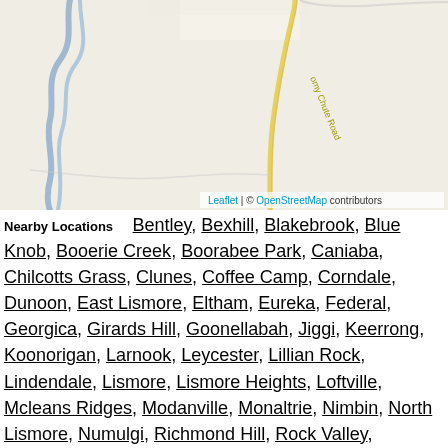[Figure (map): OpenStreetMap tile showing a rural area with a winding road labeled 'omy Chute Road', a river/creek on the left side, and light-colored terrain. Leaflet | © OpenStreetMap contributors credit at bottom right.]
Nearby Locations   Bentley, Bexhill, Blakebrook, Blue Knob, Booerie Creek, Boorabee Park, Caniaba, Chilcotts Grass, Clunes, Coffee Camp, Corndale, Dunoon, East Lismore, Eltham, Eureka, Federal, Georgica, Girards Hill, Goonellabah, Jiggi, Keerrong, Koonorigan, Larnook, Leycester, Lillian Rock, Lindendale, Lismore, Lismore Heights, Loftville, Mcleans Ridges, Modanville, Monaltrie, Nimbin, North Lismore, Numulgi, Richmond Hill, Rock Valley, Rosebank, South Gundurimba, South Lismore, Terania Creek, The